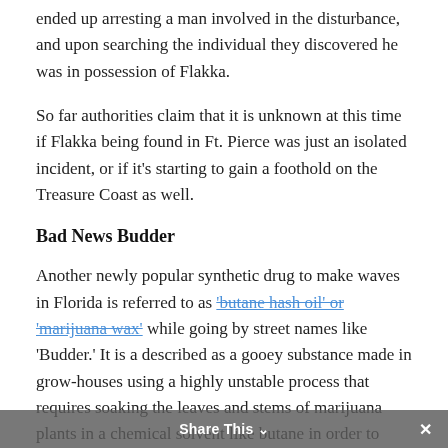...arrived they had ended up arresting a man involved in the disturbance, and upon searching the individual they discovered he was in possession of Flakka.
So far authorities claim that it is unknown at this time if Flakka being found in Ft. Pierce was just an isolated incident, or if it’s starting to gain a foothold on the Treasure Coast as well.
Bad News Budder
Another newly popular synthetic drug to make waves in Florida is referred to as ‘butane hash oil’ or ‘marijuana wax’ while going by street names like ‘Budder.’ It is a described as a gooey substance made in grow-houses using a highly unstable process that requires soaking the leaves and stems of marijuana plants in a chemical solvent like butane in order to extract the most concentrated ingredients for inducing a high...
Share This